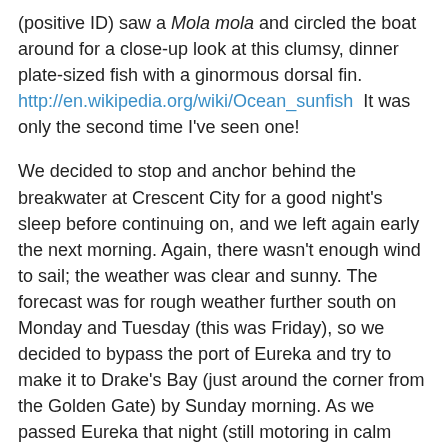(positive ID) saw a Mola mola and circled the boat around for a close-up look at this clumsy, dinner plate-sized fish with a ginormous dorsal fin. http://en.wikipedia.org/wiki/Ocean_sunfish  It was only the second time I've seen one!
We decided to stop and anchor behind the breakwater at Crescent City for a good night's sleep before continuing on, and we left again early the next morning. Again, there wasn't enough wind to sail; the weather was clear and sunny. The forecast was for rough weather further south on Monday and Tuesday (this was Friday), so we decided to bypass the port of Eureka and try to make it to Drake's Bay (just around the corner from the Golden Gate) by Sunday morning. As we passed Eureka that night (still motoring in calm conditions), the forecast was for 10-20 knots within 10 nm of Cape Mendocino (ideal sailing conditions for Silhouette) and only 25 knots from 10-60 nm offshore. (We'd been in 25 knots before on Silhouette).
The wind was just starting to build to 12-13 knots when I got off my first watch at 10:00 p.m. We set the headsail, and